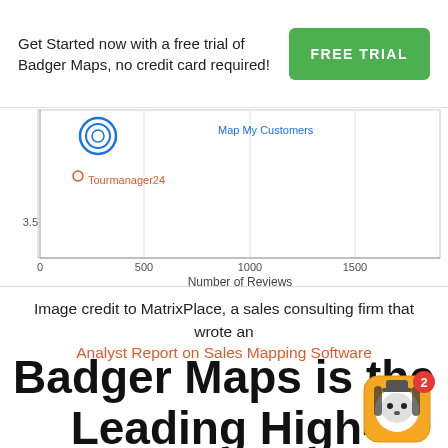Get Started now with a free trial of Badger Maps, no credit card required!
FREE TRIAL
[Figure (scatter-plot): Partial scatter plot showing data points for Map My Customers and Tourmanager24, with x-axis 'Number of Reviews' (0-1500) and y-axis starting at 3.5]
Image credit to MatrixPlace, a sales consulting firm that wrote an Analyst Report on Sales Mapping Software
Badger Maps is the Leading High-